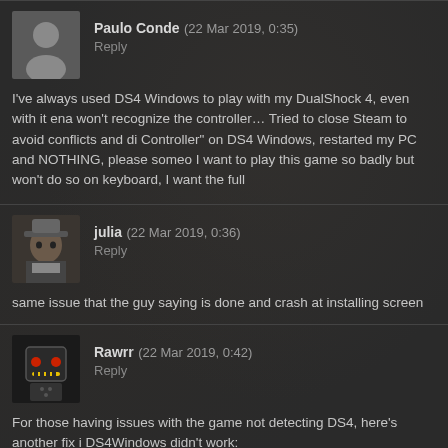Paulo Conde (22 Mar 2019, 0:35)
Reply
I've always used DS4 Windows to play with my DualShock 4, even with it ena won't recognize the controller… Tried to close Steam to avoid conflicts and di Controller" on DS4 Windows, restarted my PC and NOTHING, please someo I want to play this game so badly but won't do so on keyboard, I want the full
julia (22 Mar 2019, 0:36)
Reply
same issue that the guy saying is done and crash at installing screen
Rawrr (22 Mar 2019, 0:42)
Reply
For those having issues with the game not detecting DS4, here's another fix i DS4Windows didn't work:

1-Run DS4Windows. Make sure it's detecting your controller and the "hide DS 2-Add the game on Steam.(Not sure how dangerous this is for your Steam ac